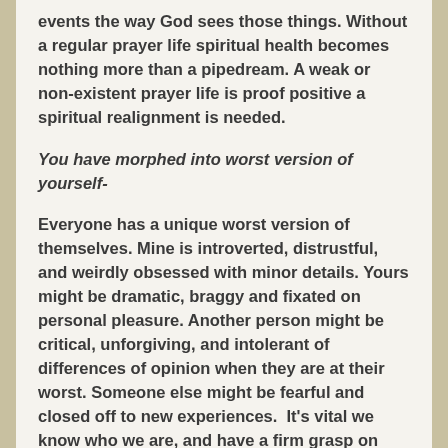events the way God sees those things. Without a regular prayer life spiritual health becomes nothing more than a pipedream. A weak or non-existent prayer life is proof positive a spiritual realignment is needed.
You have morphed into worst version of yourself-
Everyone has a unique worst version of themselves. Mine is introverted, distrustful, and weirdly obsessed with minor details. Yours might be dramatic, braggy and fixated on personal pleasure. Another person might be critical, unforgiving, and intolerant of differences of opinion when they are at their worst. Someone else might be fearful and closed off to new experiences.  It's vital we know who we are, and have a firm grasp on what our “normal” looks like.